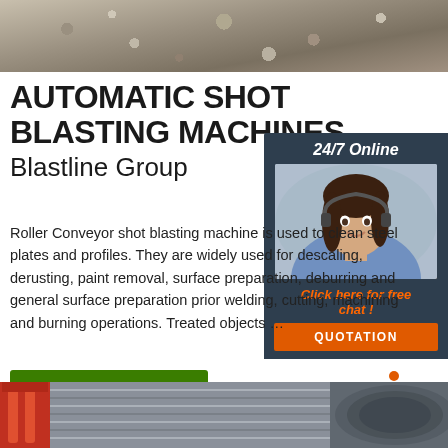[Figure (photo): Gravel/stone surface photo at top of page]
AUTOMATIC SHOT BLASTING MACHINES Blastline Group
[Figure (photo): Customer service representative with headset - 24/7 Online chat widget with orange QUOTATION button]
Roller Conveyor shot blasting machine is used to clean steel plates and profiles. They are widely used for descaling, derusting, paint removal, surface preparation, deburring and general surface preparation prior welding, cutting, machining and burning operations. Treated objects …
[Figure (other): Green Get Price button]
[Figure (logo): Orange TOP logo with arrow dots]
[Figure (photo): Industrial metal rods/pipes photo at bottom of page]